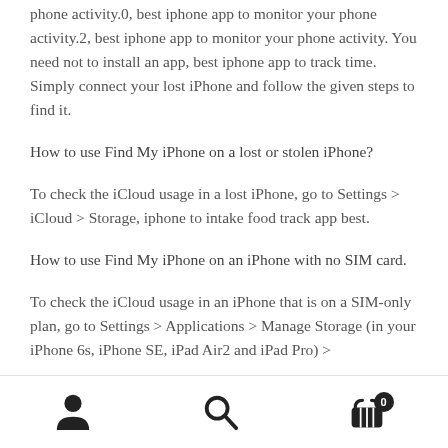phone activity.0, best iphone app to monitor your phone activity.2, best iphone app to monitor your phone activity. You need not to install an app, best iphone app to track time. Simply connect your lost iPhone and follow the given steps to find it.
How to use Find My iPhone on a lost or stolen iPhone?
To check the iCloud usage in a lost iPhone, go to Settings > iCloud > Storage, iphone to intake food track app best.
How to use Find My iPhone on an iPhone with no SIM card.
To check the iCloud usage in an iPhone that is on a SIM-only plan, go to Settings > Applications > Manage Storage (in your iPhone 6s, iPhone SE, iPad Air2 and iPad Pro) >
[user icon] [search icon] [cart icon with badge 0]